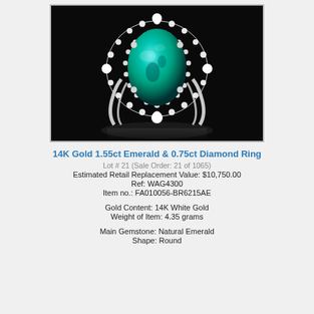[Figure (photo): Close-up photograph of a 14K white gold ring featuring a large oval teal/green emerald center stone surrounded by a double halo of round white diamonds, set against a black background with a faint reflection below.]
14K Gold 1.55ct Emerald & 0.75ct Diamond Ring
Lot # 21 (Sale Order: 21 of 1065)
Estimated Retail Replacement Value: $10,750.00
Ref: WAG4300
Item no.: FA010056-BR6215AE
Gold Content: 14K White Gold
Weight of Item: 4.35 grams
Main Gemstone: Natural Emerald
Shape: Round